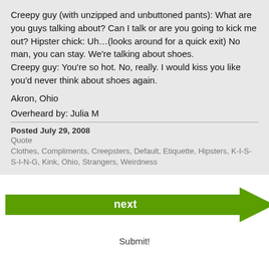Creepy guy (with unzipped and unbuttoned pants): What are you guys talking about? Can I talk or are you going to kick me out? Hipster chick: Uh… (looks around for a quick exit) No man, you can stay. We're talking about shoes. Creepy guy: You're so hot. No, really. I would kiss you like you'd never think about shoes again.
Akron, Ohio
Overheard by: Julia M
Posted July 29, 2008
Quote
Clothes, Compliments, Creepsters, Default, Etiquette, Hipsters, K-I-S-S-I-N-G, Kink, Ohio, Strangers, Weirdness
[Figure (other): Green arrow button pointing right with the word 'next' in white bold text]
Submit!